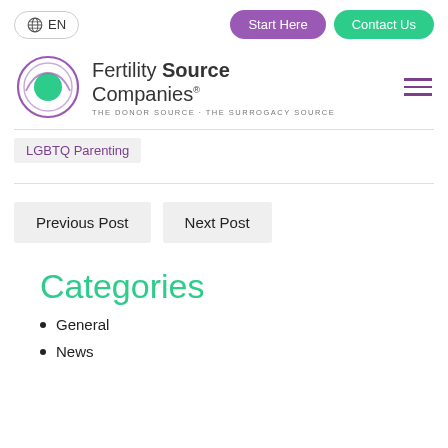EN  Start Here  Contact Us
[Figure (logo): Fertility Source Companies logo with circular eye icon in purple and teal, tagline THE DONOR SOURCE · THE SURROGACY SOURCE]
LGBTQ Parenting
Previous Post   Next Post
Categories
General
News